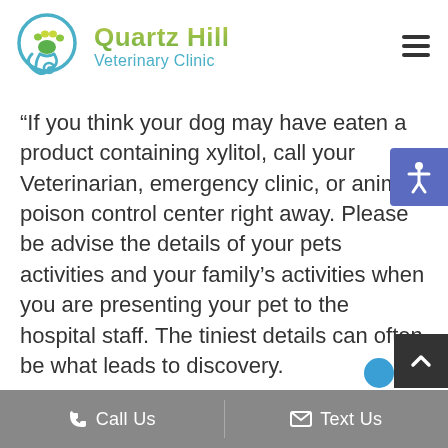[Figure (logo): Quartz Hill Veterinary Clinic logo with a blue circle containing a stethoscope and paw print, alongside the clinic name in green/teal gradient text]
“If you think your dog may have eaten a product containing xylitol, call your Veterinarian, emergency clinic, or animal poison control center right away. Please be advise the details of your pets activities and your family’s activities when you are presenting your pet to the hospital staff. The tiniest details can often be what leads to discovery.
Call Us   Text Us